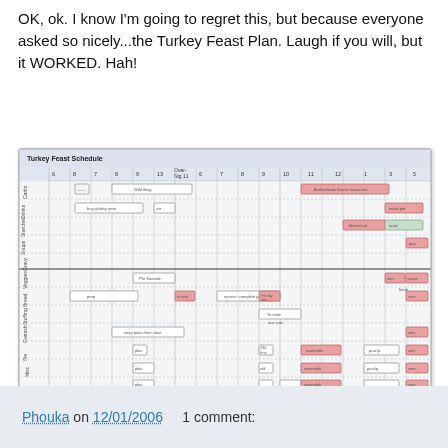OK, ok. I know I'm going to regret this, but because everyone asked so nicely...the Turkey Feast Plan. Laugh if you will, but it WORKED. Hah!
[Figure (infographic): Turkey Feast Schedule — a project/gantt-style spreadsheet grid titled 'Turkey Feast Schedule' with rows representing different task categories (Carbs, Drinks, Starches, Soups, Gravy, Veggies, Bread, Stuffing, Garnish, Pie, Misc) and columns representing numbered days/dates. Colored bars (pink/salmon and green) indicate task timing across the schedule grid.]
Phouka on 12/01/2006    1 comment: